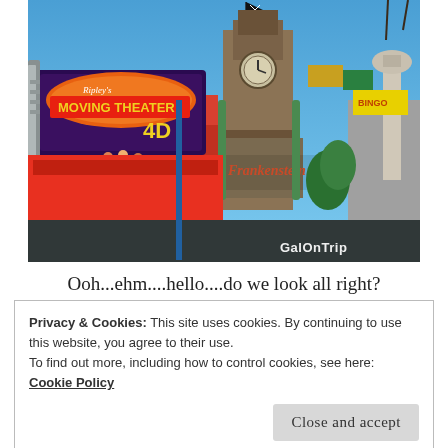[Figure (photo): Exterior photo of Ripley's Moving Theater 4D and Frankenstein attraction on Clifton Hill, Niagara Falls, with bright signage, a clock tower, and blue sky. Watermark reads GalOnTrip.]
Ooh...ehm....hello....do we look all right?
Privacy & Cookies: This site uses cookies. By continuing to use this website, you agree to their use.
To find out more, including how to control cookies, see here: Cookie Policy
Close and accept
[Figure (photo): Bottom strip of a colorful outdoor attraction photo, partially visible.]